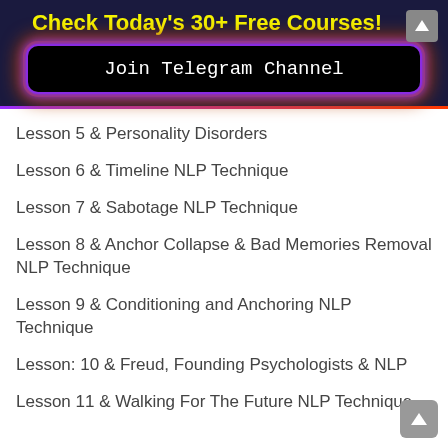Check Today's 30+ Free Courses!
[Figure (other): Join Telegram Channel button with purple/orange glow border on dark background]
Lesson 5 & Personality Disorders
Lesson 6 & Timeline NLP Technique
Lesson 7 & Sabotage NLP Technique
Lesson 8 & Anchor Collapse & Bad Memories Removal NLP Technique
Lesson 9 & Conditioning and Anchoring NLP Technique
Lesson: 10 & Freud, Founding Psychologists & NLP
Lesson 11 & Walking For The Future NLP Technique